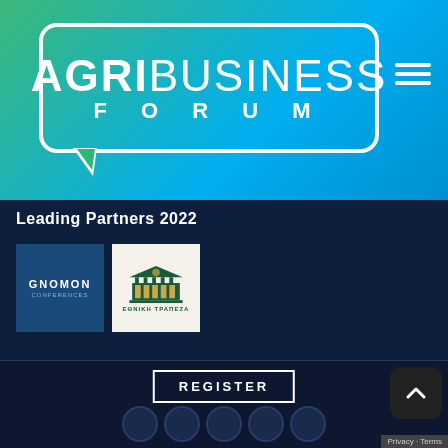[Figure (logo): AgriBusiness Forum logo in a speech bubble on a green-to-blue gradient background with hamburger menu icon]
Leading Partners 2022
[Figure (logo): GNOMON Conferences logo - white text on dark blue square]
[Figure (logo): ΕΘΝΙΚΗ ΤΡΑΠΕΖΑ (National Bank of Greece) logo - building illustration on cream background]
REGISTER
[Figure (other): Scroll-to-top button (dark rounded square with upward chevron)]
Privacy · Terms